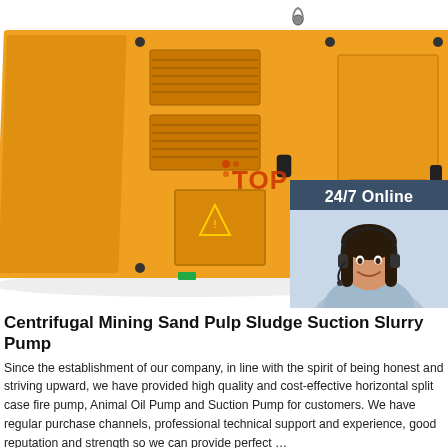[Figure (photo): Large orange industrial enclosure/cabinet unit (centrifugal mining pump housing) on white background, with a customer service chat widget overlay in the top-right showing '24/7 Online', a woman with headset, 'Click here for free chat!' text, and an orange QUOTATION button.]
Centrifugal Mining Sand Pulp Sludge Suction Slurry Pump
Since the establishment of our company, in line with the spirit of being honest and striving upward, we have provided high quality and cost-effective horizontal split case fire pump, Animal Oil Pump and Suction Pump for customers. We have regular purchase channels, professional technical support and experience, good reputation and strength so we can provide perfect ...